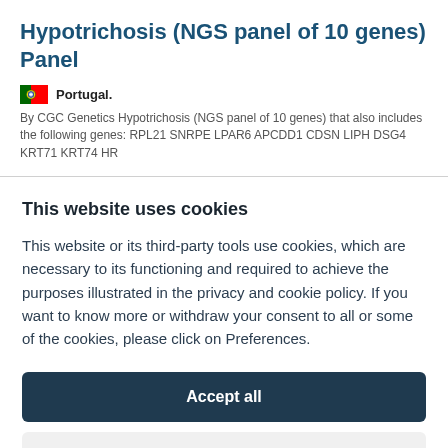Hypotrichosis (NGS panel of 10 genes) Panel
Portugal.
By CGC Genetics Hypotrichosis (NGS panel of 10 genes) that also includes the following genes: RPL21 SNRPE LPAR6 APCDD1 CDSN LIPH DSG4 KRT71 KRT74 HR
This website uses cookies
This website or its third-party tools use cookies, which are necessary to its functioning and required to achieve the purposes illustrated in the privacy and cookie policy. If you want to know more or withdraw your consent to all or some of the cookies, please click on Preferences.
Accept all
Preferences